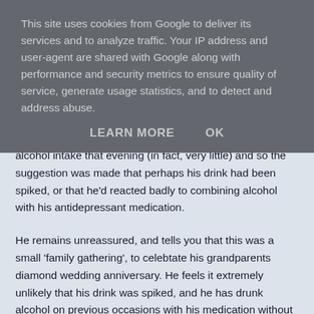This site uses cookies from Google to deliver its services and to analyze traffic. Your IP address and user-agent are shared with Google along with performance and security metrics to ensure quality of service, generate usage statistics, and to detect and address abuse.
LEARN MORE   OK
alcohol intake that evening (in fact, very little) and so the suggestion was made that perhaps his drink had been spiked, or that he'd reacted badly to combining alcohol with his antidepressant medication.
He remains unreassured, and tells you that this was a small 'family gathering', to celebtate his grandparents diamond wedding anniversary. He feels it extremely unlikely that his drink was spiked, and he has drunk alcohol on previous occasions with his medication without any adverse effects. Since that evening, he has felt fine, but remains very worried about the cause of his collapse.
You examine him and find his BP is 106/64, his heart sounds